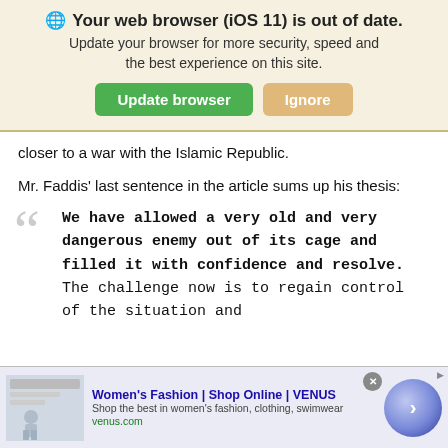[Figure (screenshot): Browser update notification banner with globe icon, bold title 'Your web browser (iOS 11) is out of date.', subtitle 'Update your browser for more security, speed and the best experience on this site.', green 'Update browser' button and tan 'Ignore' button, on a beige background.]
closer to a war with the Islamic Republic.
Mr. Faddis' last sentence in the article sums up his thesis:
We have allowed a very old and very dangerous enemy out of its cage and filled it with confidence and resolve. The challenge now is to regain control of the situation and
[Figure (screenshot): Advertisement banner for Women's Fashion | Shop Online | VENUS. Shows a fashion photo on left, blue hyperlinked title, small grey subtitle 'Shop the best in women's fashion, clothing, swimwear', green URL 'venus.com', a close X button, ad label, and a blue circle with right arrow.]